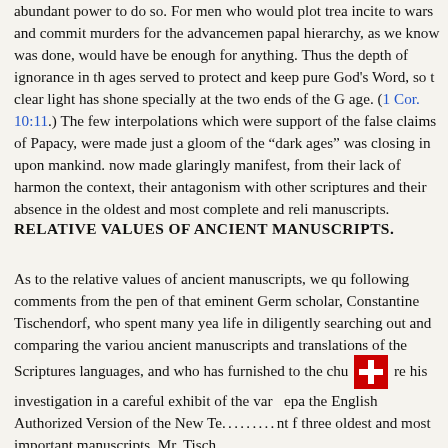abundant power to do so. For men who would plot trea incite to wars and commit murders for the advancemen papal hierarchy, as we know was done, would have be enough for anything. Thus the depth of ignorance in th ages served to protect and keep pure God's Word, so t clear light has shone specially at the two ends of the G age. (1 Cor. 10:11.) The few interpolations which were support of the false claims of Papacy, were made just a gloom of the "dark ages" was closing in upon mankind. now made glaringly manifest, from their lack of harmon the context, their antagonism with other scriptures and their absence in the oldest and most complete and reli manuscripts.
RELATIVE VALUES OF ANCIENT MANUSCRIPTS.
As to the relative values of ancient manuscripts, we qu following comments from the pen of that eminent Germ scholar, Constantine Tischendorf, who spent many yea life in diligently searching out and comparing the variou ancient manuscripts and translations of the Scriptures languages, and who has furnished to the chu re his investigation in a careful exhibit of the var epa the English Authorized Version of the New Testament f three oldest and most important manuscripts. Mr. Tisch